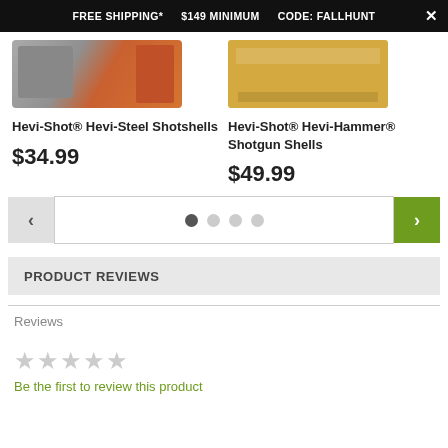FREE SHIPPING*   $149 MINIMUM   CODE: FALLHUNT
[Figure (photo): Hevi-Shot Hevi-Steel Shotshells product image - partial view of shells and packaging]
Hevi-Shot® Hevi-Steel Shotshells
$34.99
[Figure (photo): Hevi-Shot Hevi-Hammer Shotgun Shells product image - yellow/tan box]
Hevi-Shot® Hevi-Hammer® Shotgun Shells
$49.99
PRODUCT REVIEWS
Reviews
Be the first to review this product